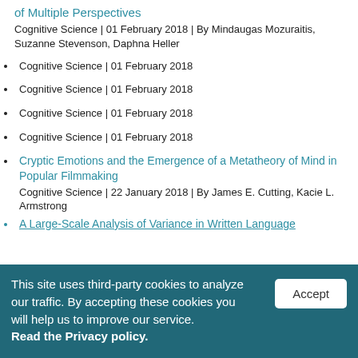of Multiple Perspectives
Cognitive Science | 01 February 2018 | By Mindaugas Mozuraitis, Suzanne Stevenson, Daphna Heller
Cognitive Science | 01 February 2018
Cognitive Science | 01 February 2018
Cognitive Science | 01 February 2018
Cognitive Science | 01 February 2018
Cryptic Emotions and the Emergence of a Metatheory of Mind in Popular Filmmaking
Cognitive Science | 22 January 2018 | By James E. Cutting, Kacie L. Armstrong
A Large-Scale Analysis of Variance in Written Language
This site uses third-party cookies to analyze our traffic. By accepting these cookies you will help us to improve our service. Read the Privacy policy.